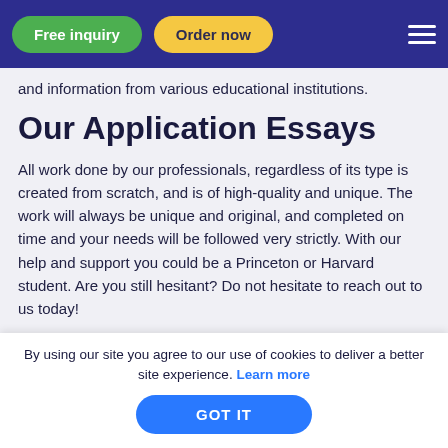Free inquiry | Order now
and information from various educational institutions.
Our Application Essays
All work done by our professionals, regardless of its type is created from scratch, and is of high-quality and unique. The work will always be unique and original, and completed on time and your needs will be followed very strictly. With our help and support you could be a Princeton or Harvard student. Are you still hesitant? Do not hesitate to reach out to us today!
What is an essay for
By using our site you agree to our use of cookies to deliver a better site experience. Learn more
GOT IT